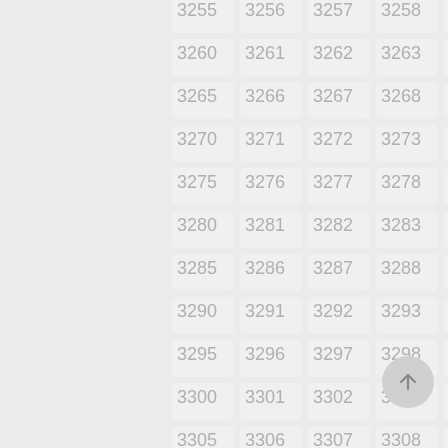[Figure (other): Grid of numbered tiles from 3255 to 3309, arranged in 5 columns and 12 rows, each tile showing a light gray number on a slightly lighter gray rounded rectangle background. A circular back-to-top button with an upward arrow is positioned in the lower right.]